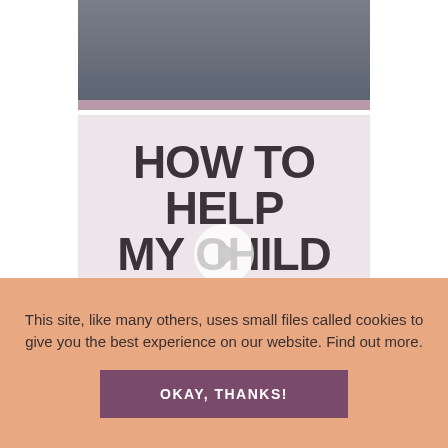[Figure (photo): Person wearing a dark gray long-sleeve shirt, photo cropped to show torso/shoulders]
[Figure (screenshot): Video thumbnail with light mauve/pink background showing text 'HOW TO HELP MY CHILD STAY IN BED' with a play button in the center. 'BED' is highlighted in mauve/pink color.]
This site, like many others, uses small files called cookies to give you the best experience on our website. Find out more.
OKAY, THANKS!